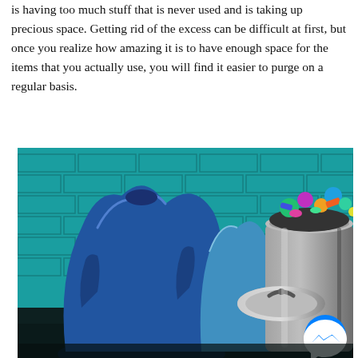is having too much stuff that is never used and is taking up precious space. Getting rid of the excess can be difficult at first, but once you realize how amazing it is to have enough space for the items that you actually use, you will find it easier to purge on a regular basis.
[Figure (photo): Photo of blue garbage bags piled near a teal/turquoise brick wall, next to a gray overflowing trash can with colorful items, and a blue Facebook Messenger icon in the bottom right corner.]